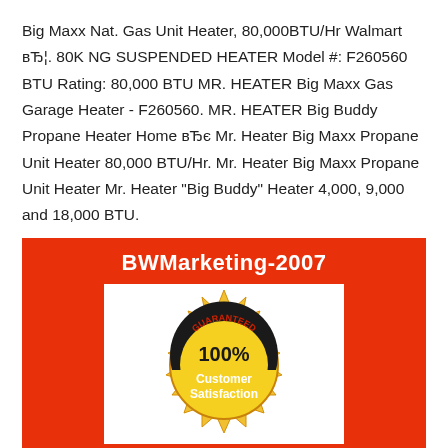Big Maxx Nat. Gas Unit Heater, 80,000BTU/Hr Walmart вЂ¦. 80K NG SUSPENDED HEATER Model #: F260560 BTU Rating: 80,000 BTU MR. HEATER Big Maxx Gas Garage Heater - F260560. MR. HEATER Big Buddy Propane Heater Home вЂє Mr. Heater Big Maxx Propane Unit Heater 80,000 BTU/Hr. Mr. Heater Big Maxx Propane Unit Heater Mr. Heater "Big Buddy" Heater 4,000, 9,000 and 18,000 BTU.
[Figure (other): Red banner with BWMarketing-2007 text in bold white, containing a white rectangle with a gold/yellow starburst guaranteed seal showing '100% Customer Satisfaction']